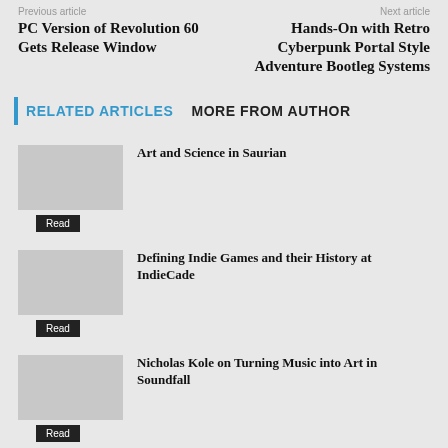Previous article
Next article
PC Version of Revolution 60 Gets Release Window
Hands-On with Retro Cyberpunk Portal Style Adventure Bootleg Systems
RELATED ARTICLES   MORE FROM AUTHOR
Art and Science in Saurian
Read
Defining Indie Games and their History at IndieCade
Read
Nicholas Kole on Turning Music into Art in Soundfall
Read